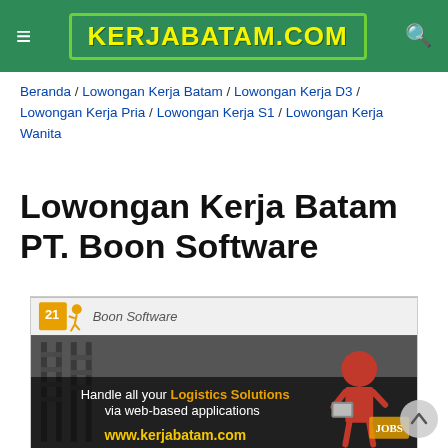KERJABATAM.COM
Beranda / Lowongan Kerja Batam / Lowongan Kerja D3 / Lowongan Kerja Pria / Lowongan Kerja S1 / Lowongan Kerja Wanita
Lowongan Kerja Batam PT. Boon Software
[Figure (screenshot): Advertisement image for Boon Software showing a logistics warehouse background with text 'Handle all your Logistics Solutions via web-based applications' and the URL www.kerjabatam.com at the bottom, with a red cartoon figure holding a tablet.]